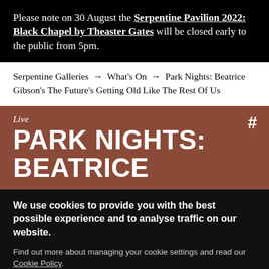Please note on 30 August the Serpentine Pavilion 2022: Black Chapel by Theaster Gates will be closed early to the public from 5pm.
Serpentine Galleries → What's On → Park Nights: Beatrice Gibson's The Future's Getting Old Like The Rest Of Us
Live
PARK NIGHTS: BEATRICE
We use cookies to provide you with the best possible experience and to analyse traffic on our website.
Find out more about managing your cookie settings and read our Cookie Policy.
ACCEPT COOKIES
READ MORE